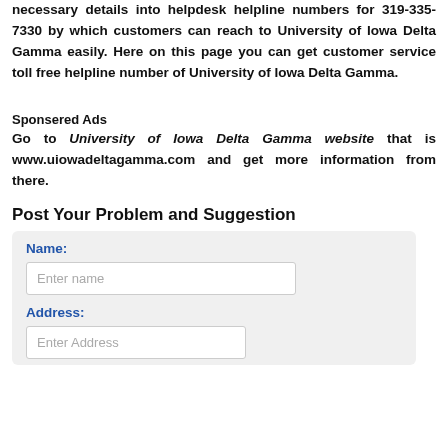necessary details into helpdesk helpline numbers for 319-335-7330 by which customers can reach to University of Iowa Delta Gamma easily. Here on this page you can get customer service toll free helpline number of University of Iowa Delta Gamma.
Sponsered Ads
Go to University of Iowa Delta Gamma website that is www.uiowadeltagamma.com and get more information from there.
Post Your Problem and Suggestion
Name: [Enter name field] Address: [Enter Address field]